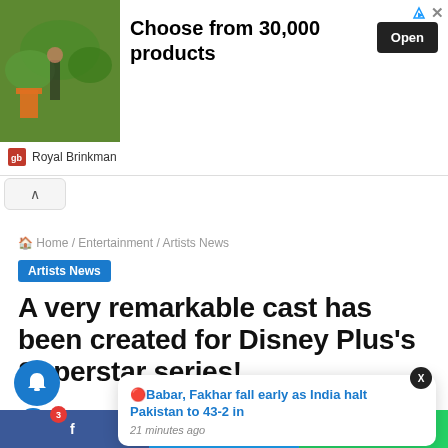[Figure (screenshot): Advertisement banner for Royal Brinkman showing a person gardening, with text 'Choose from 30,000 products' and an Open button]
Home / Entertainment / Artists News
Artists News
A very remarkable cast has been created for Disney Plus's Superstar series!
Babar, Fakhar fall early as India halt Pakistan to 43-2 in — 21 minutes ago